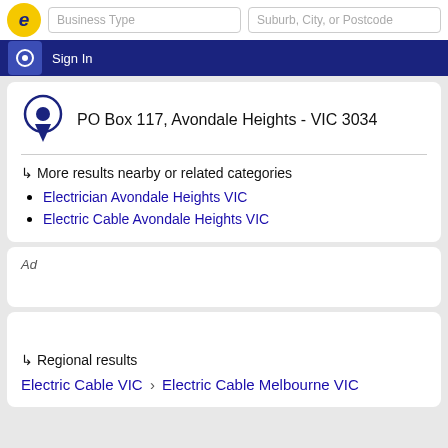Business Type | Suburb, City, or Postcode | Sign In
PO Box 117, Avondale Heights - VIC 3034
↳ More results nearby or related categories
Electrician Avondale Heights VIC
Electric Cable Avondale Heights VIC
Ad
↳ Regional results
Electric Cable VIC › Electric Cable Melbourne VIC